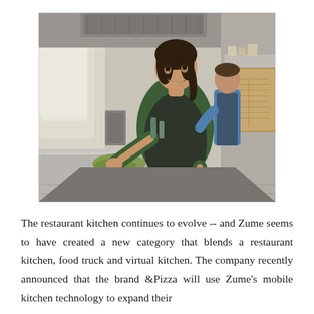[Figure (photo): Interior of a food truck kitchen showing a smiling young woman with dark hair in a ponytail, wearing a dark green shirt and black apron, cleaning a steel counter with a green cloth. In the background, a man in a blue shirt and dark apron works near industrial kitchen equipment. The interior features stainless steel surfaces, ventilation ducts, and a large wooden box/cooler on the right.]
The restaurant kitchen continues to evolve -- and Zume seems to have created a new category that blends a restaurant kitchen, food truck and virtual kitchen. The company recently announced that the brand &Pizza will use Zume's mobile kitchen technology to expand their